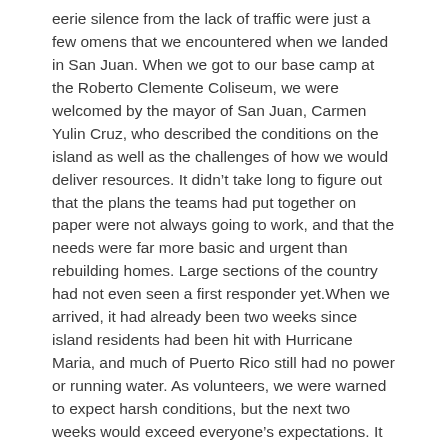eerie silence from the lack of traffic were just a few omens that we encountered when we landed in San Juan. When we got to our base camp at the Roberto Clemente Coliseum, we were welcomed by the mayor of San Juan, Carmen Yulin Cruz, who described the conditions on the island as well as the challenges of how we would deliver resources. It didn't take long to figure out that the plans the teams had put together on paper were not always going to work, and that the needs were far more basic and urgent than rebuilding homes. Large sections of the country had not even seen a first responder yet.When we arrived, it had already been two weeks since island residents had been hit with Hurricane Maria, and much of Puerto Rico still had no power or running water. As volunteers, we were warned to expect harsh conditions, but the next two weeks would exceed everyone's expectations. It would also show to me that union members care and go above and beyond to help those in need.